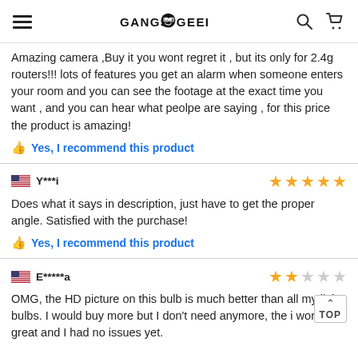GangsGeek navigation header with hamburger, logo, search and cart icons
Amazing camera ,Buy it you wont regret it , but its only for 2.4g routers!!! lots of features you get an alarm when someone enters your room and you can see the footage at the exact time you want , and you can hear what peolpe are saying , for this price the product is amazing!
Yes, I recommend this product
Y***i — 5 stars
Does what it says in description, just have to get the proper angle. Satisfied with the purchase!
Yes, I recommend this product
E*****a — 2 stars
OMG, the HD picture on this bulb is much better than all my light bulbs. I would buy more but I don't need anymore, the i works great and I had no issues yet.